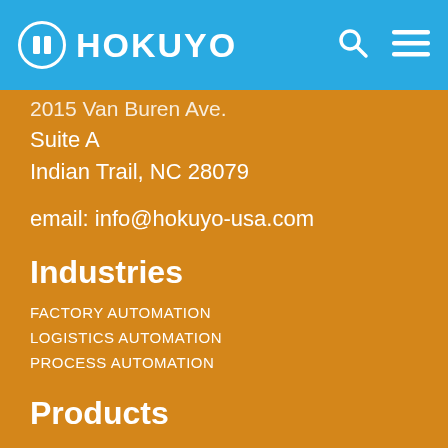[Figure (logo): Hokuyo logo with circle icon on blue header bar, with search and menu icons on the right]
2015 Van Buren Ave.
Suite A
Indian Trail, NC 28079
email: info@hokuyo-usa.com
Industries
FACTORY AUTOMATION
LOGISTICS AUTOMATION
PROCESS AUTOMATION
Products
SAFETY LASER SCANNERS
CRANE COLLISION AVOIDANCE